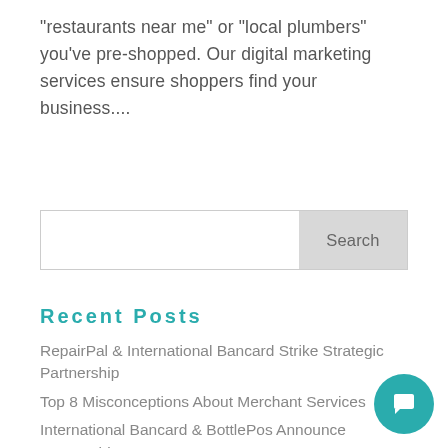“restaurants near me” or “local plumbers” you’ve pre-shopped. Our digital marketing services ensure shoppers find your business....
[Figure (other): Search input box with Search button on the right]
Recent Posts
RepairPal & International Bancard Strike Strategic Partnership
Top 8 Misconceptions About Merchant Services
International Bancard & BottlePos Announce Partnership
International Bancard & Arrowvine Expand Partnership